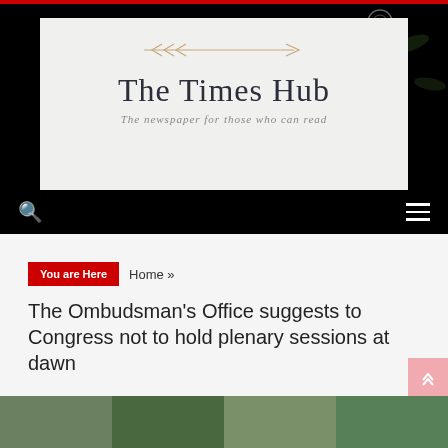[Figure (logo): The Times Hub newspaper logo with arrow decoration, subtitle 'The newspaper for those who can read']
The Times Hub — The newspaper for those who can read
You are Here  Home »
The Ombudsman's Office suggests to Congress not to hold plenary sessions at dawn